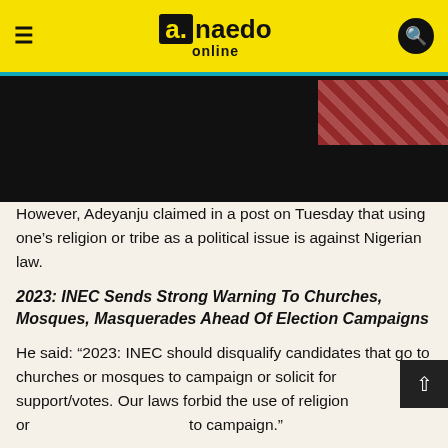a.naedo online
[Figure (photo): Partially visible image with dark background and colorful top-right corner]
However, Adeyanju claimed in a post on Tuesday that using one’s religion or tribe as a political issue is against Nigerian law.
2023: INEC Sends Strong Warning To Churches, Mosques, Masquerades Ahead Of Election Campaigns
He said: “2023: INEC should disqualify candidates that go to churches or mosques to campaign or solicit for support/votes. Our laws forbid the use of religion or to campaign.”